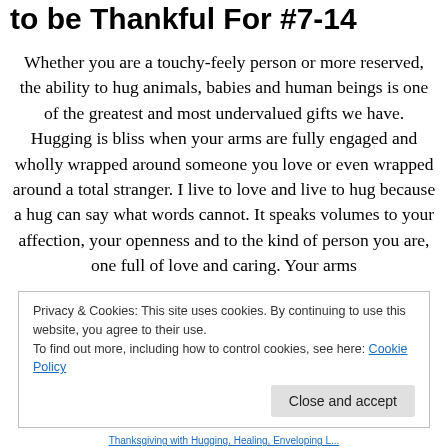to be Thankful For #7-14
Whether you are a touchy-feely person or more reserved, the ability to hug animals, babies and human beings is one of the greatest and most undervalued gifts we have. Hugging is bliss when your arms are fully engaged and wholly wrapped around someone you love or even wrapped around a total stranger. I live to love and live to hug because a hug can say what words cannot. It speaks volumes to your affection, your openness and to the kind of person you are, one full of love and caring. Your arms
Privacy & Cookies: This site uses cookies. By continuing to use this website, you agree to their use.
To find out more, including how to control cookies, see here: Cookie Policy
Thanksgiving with Hugging, Healing, Enveloping L...